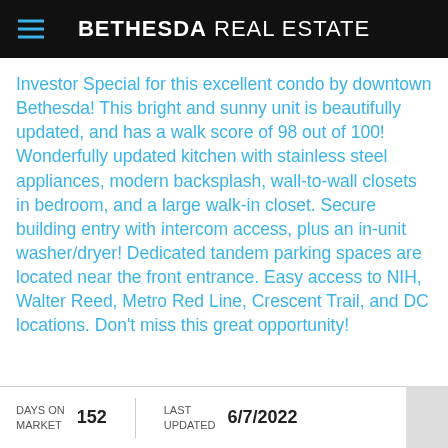BETHESDA REAL ESTATE
Investor Special for this excellent condo by downtown Bethesda! This bright and sunny unit is beautifully updated, and has a walk score of 98 out of 100! Wonderfully updated kitchen with stainless steel appliances, modern backsplash, wall-to-wall closets in bedroom, and a large walk-in closet. Secure building entry with intercom access, plus an in-unit washer/dryer! Dedicated tandem parking spaces are located near the front entrance. Easy access to NIH, Walter Reed, Metro Red Line, Crescent Trail, and DC locations. Don't miss this great opportunity!
DAYS ON MARKET  152  LAST UPDATED  6/7/2022